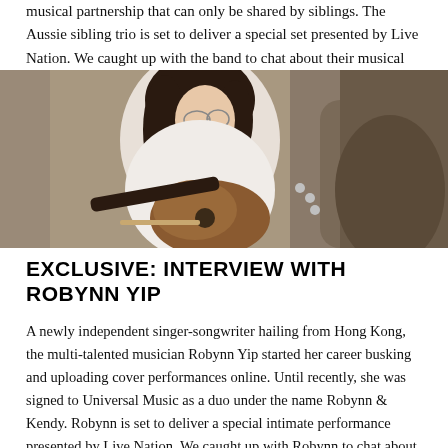musical partnership that can only be shared by siblings. The Aussie sibling trio is set to deliver a special set presented by Live Nation. We caught up with the band to chat about their musical aspirations.
[Figure (photo): A young woman with glasses playing an acoustic guitar outdoors, wearing a white long-sleeve top, seated near a tree.]
EXCLUSIVE: INTERVIEW WITH ROBYNN YIP
A newly independent singer-songwriter hailing from Hong Kong, the multi-talented musician Robynn Yip started her career busking and uploading cover performances online. Until recently, she was signed to Universal Music as a duo under the name Robynn & Kendy. Robynn is set to deliver a special intimate performance presented by Live Nation. We caught up with Robynn to chat about her exciting solo career launch and recent life.